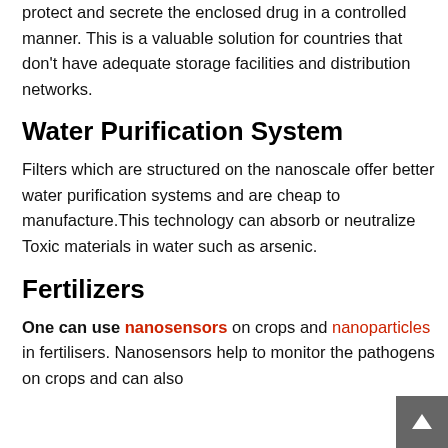protect and secrete the enclosed drug in a controlled manner. This is a valuable solution for countries that don't have adequate storage facilities and distribution networks.
Water Purification System
Filters which are structured on the nanoscale offer better water purification systems and are cheap to manufacture.This technology can absorb or neutralize Toxic materials in water such as arsenic.
Fertilizers
One can use nanosensors on crops and nanoparticles in fertilisers. Nanosensors help to monitor the pathogens on crops and can also